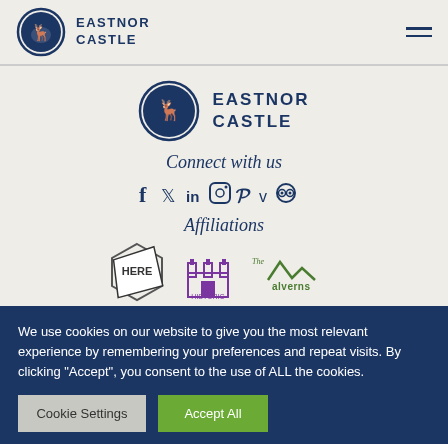[Figure (logo): Eastnor Castle logo in header - circular crest with deer and text EASTNOR CASTLE]
[Figure (logo): Eastnor Castle logo centered - circular crest with deer and text EASTNOR CASTLE]
Connect with us
[Figure (infographic): Social media icons: Facebook, Twitter, LinkedIn, Instagram, Pinterest, Vimeo, TripAdvisor]
Affiliations
[Figure (infographic): Affiliation logos: HERE, Historic (castle icon), The Malverns]
We use cookies on our website to give you the most relevant experience by remembering your preferences and repeat visits. By clicking “Accept”, you consent to the use of ALL the cookies.
Cookie Settings | Accept All